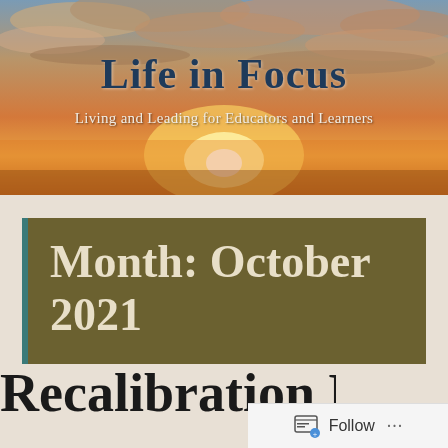[Figure (photo): Sunset sky with clouds in warm orange, pink and blue tones serving as the header background image]
Life in Focus
Living and Leading for Educators and Learners
Month: October 2021
Recalibration Publi...